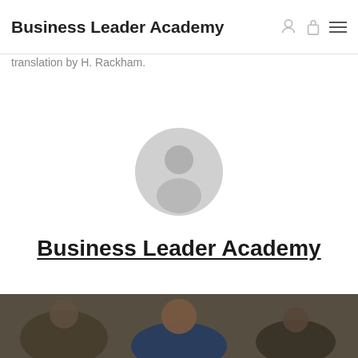Business Leader Academy
translation by H. Rackham.
[Figure (illustration): Generic user avatar icon — circular silhouette with head and shoulders in light gray]
Business Leader Academy
[Figure (photo): Photo of students in a classroom setting, smiling; overlaid text reads 'Previous Post']
Previous Post